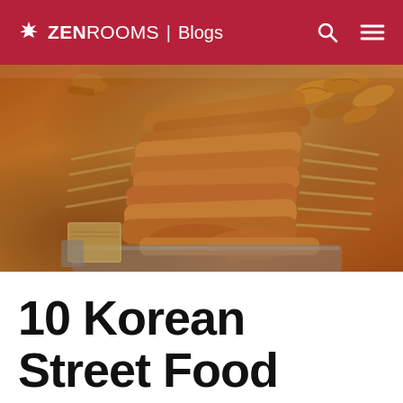ZEN ROOMS | Blogs
[Figure (photo): Korean street food on skewers — rows of fried sausages and fish cakes on wooden sticks piled on a market stall tray]
10 Korean Street Food That'll Give